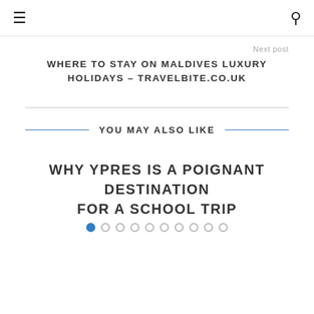≡  🔍
Next post
WHERE TO STAY ON MALDIVES LUXURY HOLIDAYS – TRAVELBITE.CO.UK
YOU MAY ALSO LIKE
WHY YPRES IS A POIGNANT DESTINATION FOR A SCHOOL TRIP
[Figure (other): Pagination dots: 10 dots, first dot filled blue, rest empty circles]